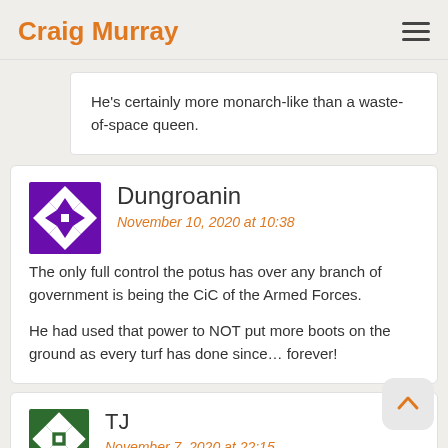Craig Murray
He's certainly more monarch-like than a waste-of-space queen.
Dungroanin
November 10, 2020 at 10:38
The only full control the potus has over any branch of government is being the CiC of the Armed Forces.
He had used that power to NOT put more boots on the ground as every turf has done since... forever!
TJ
November 7, 2020 at 22:15